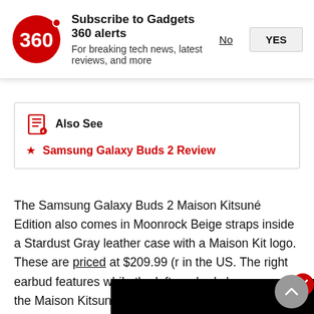Subscribe to Gadgets 360 alerts
For breaking tech news, latest reviews, and more
Also See
Samsung Galaxy Buds 2 Review
The Samsung Galaxy Buds 2 Maison Kitsuné Edition also comes in Moonrock Beige straps inside a Stardust Gray leather case with a Maison Kit logo. These are priced at $209.99 (r in the US. The right earbud features while the left ear bud showcases its the Maison Kitsuné Edition devices are available in limited quantities and in select markets.
[Figure (screenshot): Video player overlay with red play button on black background, with close (X) button in red circle]